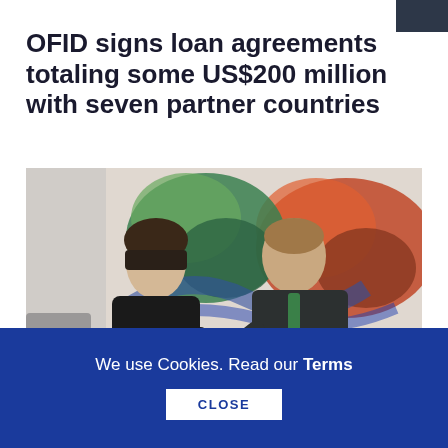OFID signs loan agreements totaling some US$200 million with seven partner countries
[Figure (photo): Two people shaking hands in front of a colorful abstract painting. A woman in dark attire on the left and a man in a dark suit with a green tie on the right.]
We use Cookies. Read our Terms
CLOSE